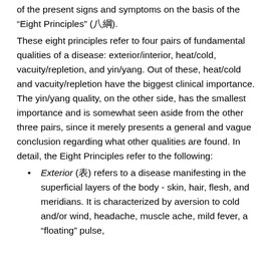of the present signs and symptoms on the basis of the "Eight Principles" (八綱).
These eight principles refer to four pairs of fundamental qualities of a disease: exterior/interior, heat/cold, vacuity/repletion, and yin/yang. Out of these, heat/cold and vacuity/repletion have the biggest clinical importance. The yin/yang quality, on the other side, has the smallest importance and is somewhat seen aside from the other three pairs, since it merely presents a general and vague conclusion regarding what other qualities are found. In detail, the Eight Principles refer to the following:
Exterior (表) refers to a disease manifesting in the superficial layers of the body - skin, hair, flesh, and meridians. It is characterized by aversion to cold and/or wind, headache, muscle ache, mild fever, a "floating" pulse,